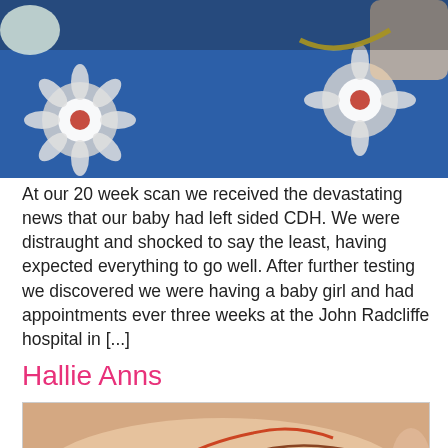[Figure (photo): Photo of a baby with medical tubes and equipment on a blue floral patterned surface]
At our 20 week scan we received the devastating news that our baby had left sided CDH. We were distraught and shocked to say the least, having expected everything to go well. After further testing we discovered we were having a baby girl and had appointments ever three weeks at the John Radcliffe hospital in [...]
Hallie Anns
[Figure (photo): Photo of a newborn baby with multiple medical tubes and monitoring wires attached to body]